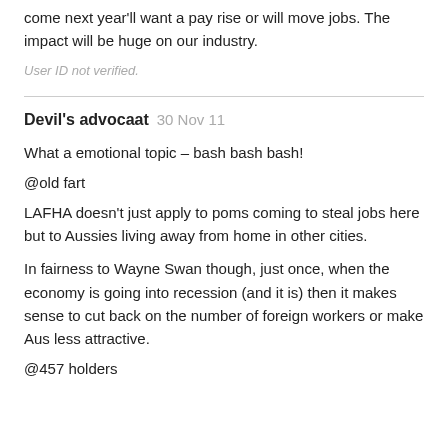come next year'll want a pay rise or will move jobs. The impact will be huge on our industry.
User ID not verified.
Devil's advocaat  30 Nov 11
What a emotional topic – bash bash bash!
@old fart
LAFHA doesn't just apply to poms coming to steal jobs here but to Aussies living away from home in other cities.
In fairness to Wayne Swan though, just once, when the economy is going into recession (and it is) then it makes sense to cut back on the number of foreign workers or make Aus less attractive.
@457 holders